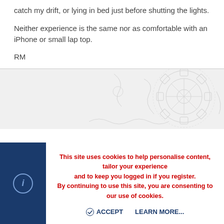catch my drift, or lying in bed just before shutting the lights.
Neither experience is the same nor as comfortable with an iPhone or small lap top.
RM
[Figure (illustration): Decorative watermark illustration with gear/cog and ornamental line art pattern on a light grey background]
This site uses cookies to help personalise content, tailor your experience and to keep you logged in if you register. By continuing to use this site, you are consenting to our use of cookies.
ACCEPT
LEARN MORE...